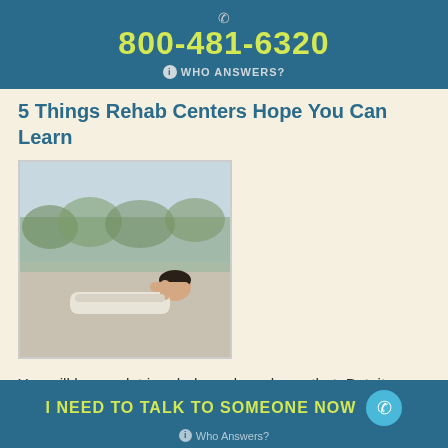800-481-6320 WHO ANSWERS?
5 Things Rehab Centers Hope You Can Learn
[Figure (photo): Person lying down on their back outdoors, relaxing, with trees blurred in the background]
You will learn a lot in rehab, and you know that. But, it can be helpful to enter the situation prepared for what exactly you will learn. This way, your mind is open and
I NEED TO TALK TO SOMEONE NOW  Who Answers?